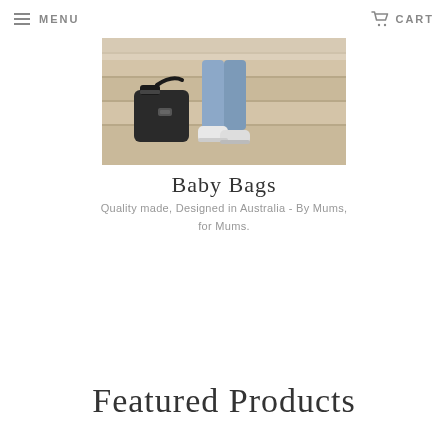MENU  CART
[Figure (photo): Photo of a person sitting on wooden steps wearing jeans and white sneakers, with a dark leather baby bag beside them]
Baby Bags
Quality made, Designed in Australia - By Mums, for Mums.
Featured Products